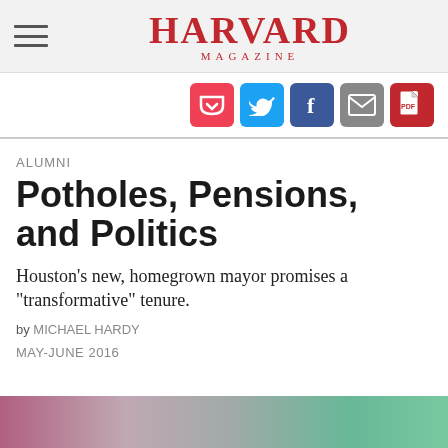HARVARD MAGAZINE
[Figure (screenshot): Social sharing icons: Pocket (red), Twitter (blue), Facebook (dark blue), Email (grey), PDF (red)]
ALUMNI
Potholes, Pensions, and Politics
Houston's new, homegrown mayor promises a "transformative" tenure.
by MICHAEL HARDY
MAY-JUNE 2016
[Figure (photo): Partial photo visible at bottom of page, blurred/cropped image in purple, grey, teal and green tones]